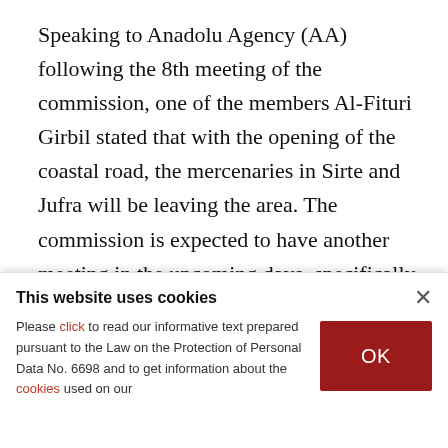Speaking to Anadolu Agency (AA) following the 8th meeting of the commission, one of the members Al-Fituri Girbil stated that with the opening of the coastal road, the mercenaries in Sirte and Jufra will be leaving the area. The commission is expected to have another meeting in the upcoming days, specifically about the road opening.
A statement released following the meeting stated
This website uses cookies
Please click to read our informative text prepared pursuant to the Law on the Protection of Personal Data No. 6698 and to get information about the cookies used on our